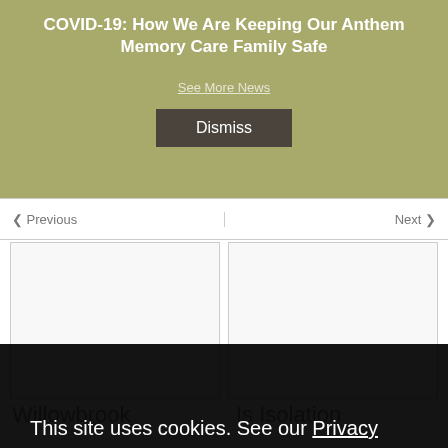COVID-19: How We Are Keeping Our Anthem Memory Care Family Safe
See More News
Dismiss
❮ Previous
Next ❯
Willowbrook
Is Isolation
This site uses cookies. See our Privacy Policy to learn more.
Okay, Got it
Cookies
For